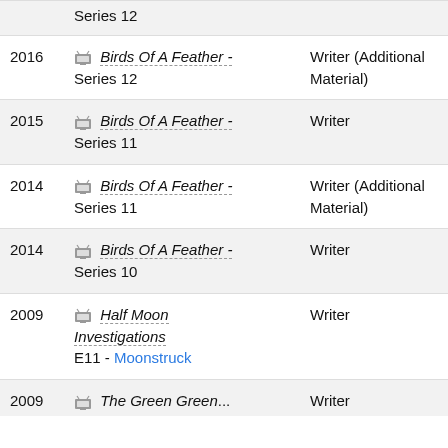| Year | Show | Role |
| --- | --- | --- |
|  | Series 12 |  |
| 2016 | 🖥 Birds Of A Feather - Series 12 | Writer (Additional Material) |
| 2015 | 🖥 Birds Of A Feather - Series 11 | Writer |
| 2014 | 🖥 Birds Of A Feather - Series 11 | Writer (Additional Material) |
| 2014 | 🖥 Birds Of A Feather - Series 10 | Writer |
| 2009 | 🖥 Half Moon Investigations E11 - Moonstruck | Writer |
| 2009 | 🖥 The Green Green... | Writer |